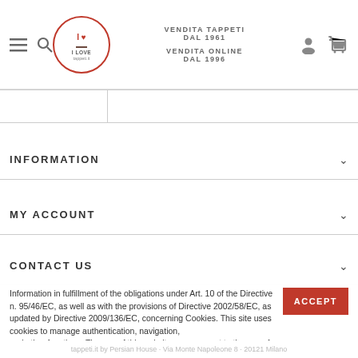VENDITA TAPPETI DAL 1961 | VENDITA ONLINE DAL 1996 | I LOVE tappeti.it
INFORMATION
MY ACCOUNT
CONTACT US
Information in fulfillment of the obligations under Art. 10 of the Directive n. 95/46/EC, as well as with the provisions of Directive 2002/58/EC, as updated by Directive 2009/136/EC, concerning Cookies. This site uses cookies to manage authentication, navigation, and other functions. The use of this website, you consent to the use of cookies on your device.
tappeti.it by Persian House · Via Monte Napoleone 8 · 20121 Milano